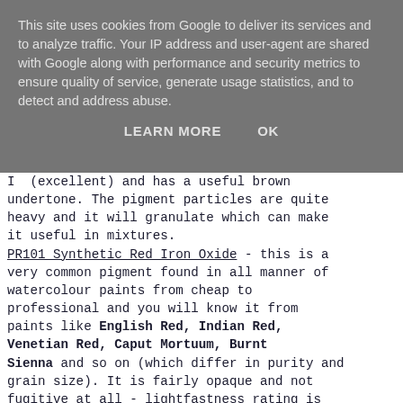This site uses cookies from Google to deliver its services and to analyze traffic. Your IP address and user-agent are shared with Google along with performance and security metrics to ensure quality of service, generate usage statistics, and to detect and address abuse.
LEARN MORE   OK
I (excellent) and has a useful brown undertone. The pigment particles are quite heavy and it will granulate which can make it useful in mixtures.
PR101 Synthetic Red Iron Oxide - this is a very common pigment found in all manner of watercolour paints from cheap to professional and you will know it from paints like English Red, Indian Red, Venetian Red, Caput Mortuum, Burnt Sienna and so on (which differ in purity and grain size). It is fairly opaque and not fugitive at all - lightfastness rating is "I". Very common and low cost iron oxide